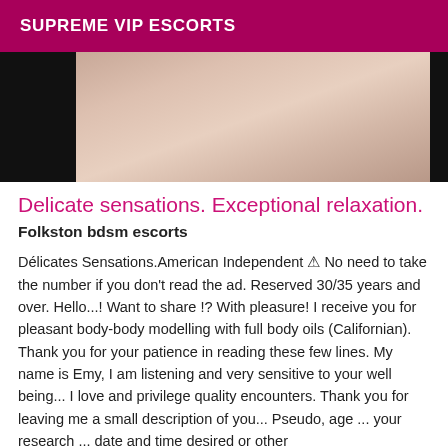SUPREME VIP ESCORTS
[Figure (photo): Partial photo of a person against a dark background]
Delicate sensations. Exceptional relaxation.
Folkston bdsm escorts
Délicates Sensations.American Independent ⚠ No need to take the number if you don't read the ad. Reserved 30/35 years and over. Hello...! Want to share !? With pleasure! I receive you for pleasant body-body modelling with full body oils (Californian). Thank you for your patience in reading these few lines. My name is Emy, I am listening and very sensitive to your well being... I love and privilege quality encounters. Thank you for leaving me a small description of you... Pseudo, age ... your research ... date and time desired or other